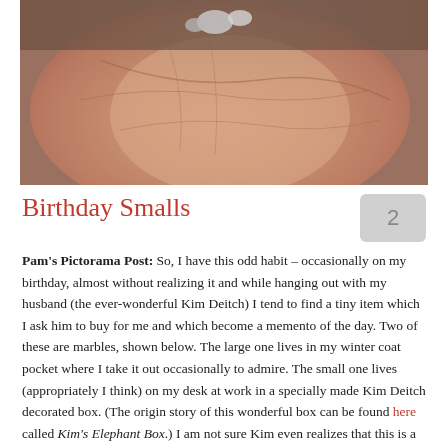[Figure (photo): Close-up photograph of a human palm holding small objects (marbles), showing the lines and texture of the hand's skin.]
Birthday Smalls
Pam's Pictorama Post: So, I have this odd habit – occasionally on my birthday, almost without realizing it and while hanging out with my husband (the ever-wonderful Kim Deitch) I tend to find a tiny item which I ask him to buy for me and which become a memento of the day. Two of these are marbles, shown below. The large one lives in my winter coat pocket where I take it out occasionally to admire. The small one lives (appropriately I think) on my desk at work in a specially made Kim Deitch decorated box. (The origin story of this wonderful box can be found here called Kim's Elephant Box.) I am not sure Kim even realizes that this is a thing that I